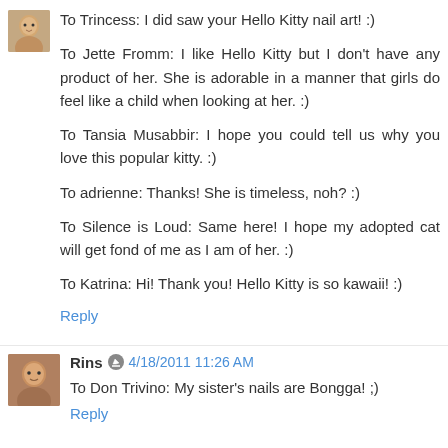To Trincess: I did saw your Hello Kitty nail art! :)

To Jette Fromm: I like Hello Kitty but I don't have any product of her. She is adorable in a manner that girls do feel like a child when looking at her. :)

To Tansia Musabbir: I hope you could tell us why you love this popular kitty. :)

To adrienne: Thanks! She is timeless, noh? :)

To Silence is Loud: Same here! I hope my adopted cat will get fond of me as I am of her. :)

To Katrina: Hi! Thank you! Hello Kitty is so kawaii! :)
Reply
Rins  4/18/2011 11:26 AM
To Don Trivino: My sister's nails are Bongga! ;)
Reply